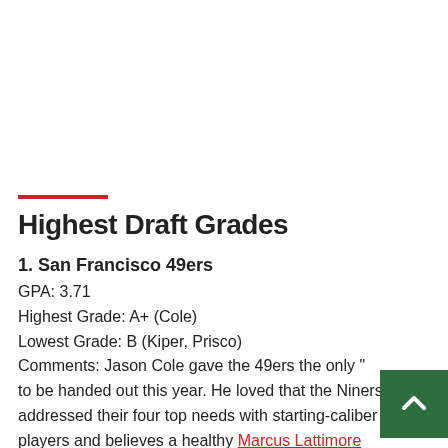Highest Draft Grades
1. San Francisco 49ers
GPA: 3.71
Highest Grade: A+ (Cole)
Lowest Grade: B (Kiper, Prisco)
Comments: Jason Cole gave the 49ers the only " to be handed out this year. He loved that the Niners addressed their four top needs with starting-caliber players and believes a healthy Marcus Lattimore could end up being the drafts best back. Kiper's